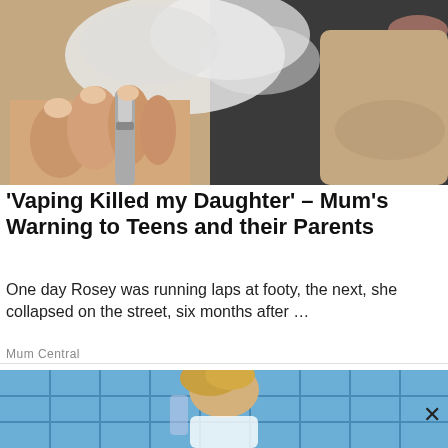[Figure (photo): Close-up photo of a person vaping, holding a vape device and exhaling vapor]
'Vaping Killed my Daughter' – Mum's Warning to Teens and their Parents
One day Rosey was running laps at footy, the next, she collapsed on the street, six months after …
Mum Central
[Figure (photo): Partial photo of a person in front of a blue tiled or gridded background, partially visible]